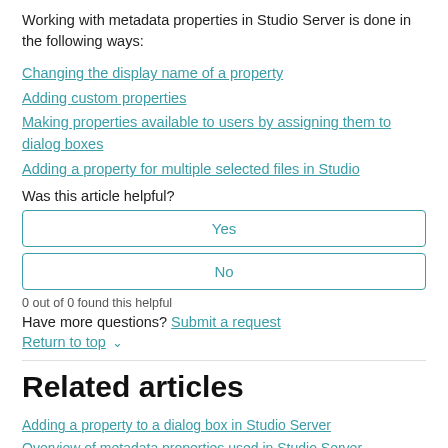Working with metadata properties in Studio Server is done in the following ways:
Changing the display name of a property
Adding custom properties
Making properties available to users by assigning them to dialog boxes
Adding a property for multiple selected files in Studio
Was this article helpful?
Yes
No
0 out of 0 found this helpful
Have more questions? Submit a request
Return to top
Related articles
Adding a property to a dialog box in Studio Server
Overview of metadata properties used in Studio Server